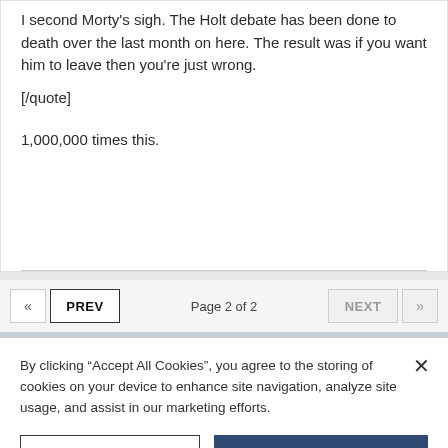I second Morty's sigh. The Holt debate has been done to death over the last month on here. The result was if you want him to leave then you're just wrong.
[/quote]
1,000,000 times this.
« PREV  Page 2 of 2  NEXT »
By clicking "Accept All Cookies", you agree to the storing of cookies on your device to enhance site navigation, analyze site usage, and assist in our marketing efforts.
Cookies Settings
Accept All Cookies